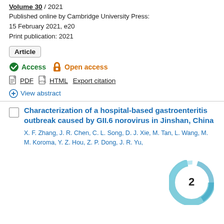Volume 30 / 2021
Published online by Cambridge University Press: 15 February 2021, e20
Print publication: 2021
Article
Access  Open access
PDF  HTML  Export citation
View abstract
[Figure (other): Altmetric donut badge showing score of 2]
Characterization of a hospital-based gastroenteritis outbreak caused by GII.6 norovirus in Jinshan, China
X. F. Zhang, J. R. Chen, C. L. Song, D. J. Xie, M. Tan, L. Wang, M. M. Koroma, Y. Z. Hou, Z. P. Dong, J. R. Yu,